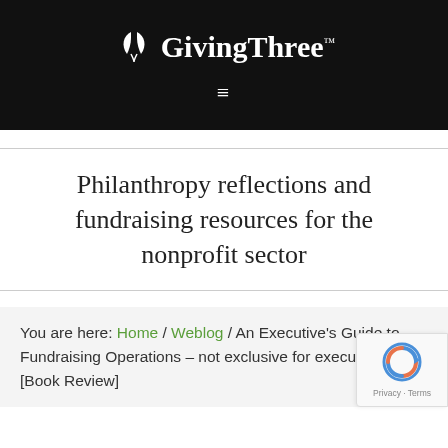GivingThree™
Philanthropy reflections and fundraising resources for the nonprofit sector
You are here: Home / Weblog / An Executive's Guide to Fundraising Operations – not exclusive for executives [Book Review]